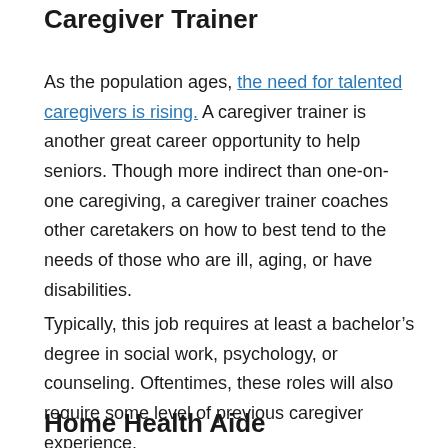Caregiver Trainer
As the population ages, the need for talented caregivers is rising. A caregiver trainer is another great career opportunity to help seniors. Though more indirect than one-on-one caregiving, a caregiver trainer coaches other caretakers on how to best tend to the needs of those who are ill, aging, or have disabilities.
Typically, this job requires at least a bachelor’s degree in social work, psychology, or counseling. Oftentimes, these roles will also require some level of previous caregiver experience.
Home Health Aide